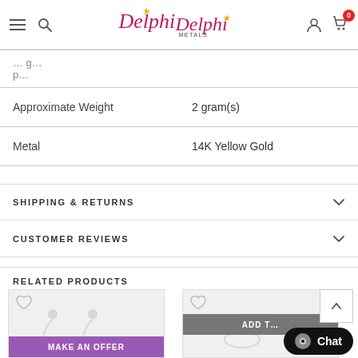Delphi Metals navigation header
| Property | Value |
| --- | --- |
| Approximate Weight | 2 gram(s) |
| Metal | 14K Yellow Gold |
SHIPPING & RETURNS
CUSTOMER REVIEWS
RELATED PRODUCTS
[Figure (photo): Two product thumbnails for related jewelry items with heart/wishlist icons, a Make an Offer purple button, an Add To Cart gray button, and a chat widget overlay.]